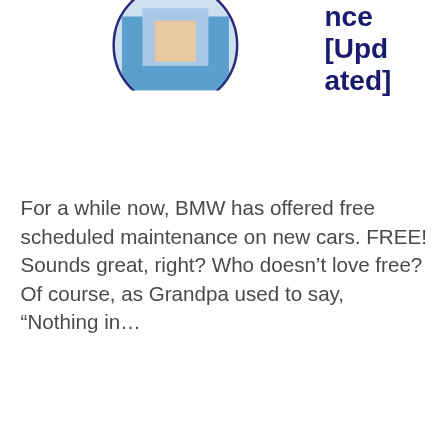[Figure (photo): Circular cropped photo of a person in a blue shirt working, partially visible at top of page]
nce [Updated]
For a while now, BMW has offered free scheduled maintenance on new cars. FREE! Sounds great, right? Who doesn’t love free? Of course, as Grandpa used to say, “Nothing in…
[Figure (screenshot): Social media sharing buttons: Like (Facebook), Tweet (Twitter), Save (Pinterest), Share / Save dropdown]
Read More
[Figure (photo): Partial image visible at bottom of page]